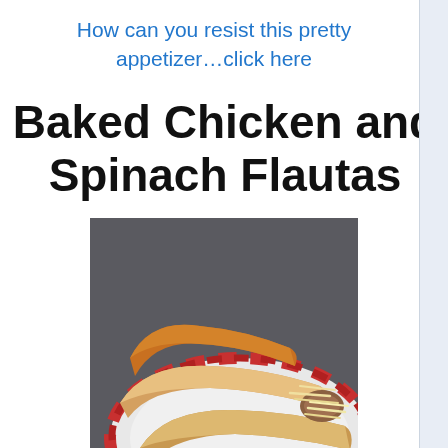How can you resist this pretty appetizer…click here
Baked Chicken and Spinach Flautas
[Figure (photo): Photo of baked chicken and spinach flautas rolled up and placed on a red and white striped plate, with shredded cheese on top, on a green surface background.]